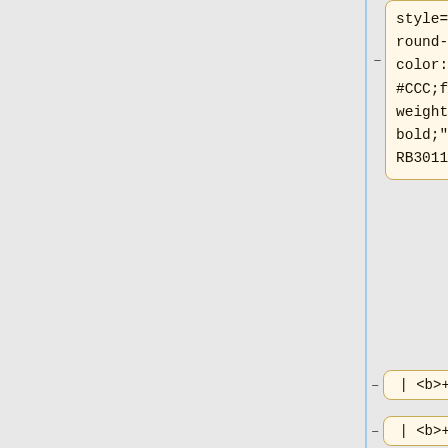[Figure (flowchart): A diff/tree view showing code nodes. The top node contains 'style="backg round- color: #CCC;font- weight: bold;" | RB3011' with a highlighted background. Below are 8 smaller nodes each containing '| <b>+</b></b>' connected by dash lines indicating tree structure.]